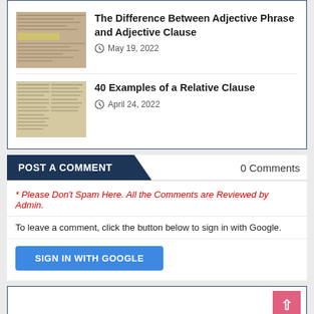The Difference Between Adjective Phrase and Adjective Clause
May 19, 2022
40 Examples of a Relative Clause
April 24, 2022
POST A COMMENT
0 Comments
* Please Don't Spam Here. All the Comments are Reviewed by Admin.
To leave a comment, click the button below to sign in with Google.
SIGN IN WITH GOOGLE